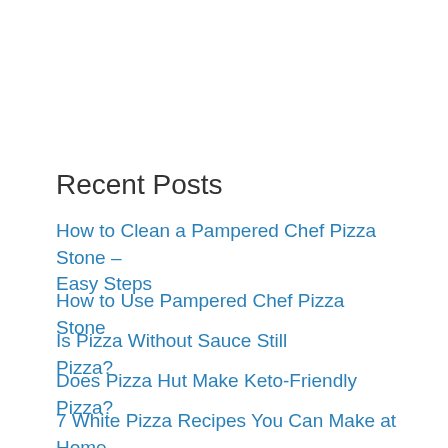Recent Posts
How to Clean a Pampered Chef Pizza Stone – Easy Steps
How to Use Pampered Chef Pizza Stone
Is Pizza Without Sauce Still Pizza?
Does Pizza Hut Make Keto-Friendly Pizza?
7 White Pizza Recipes You Can Make at Home